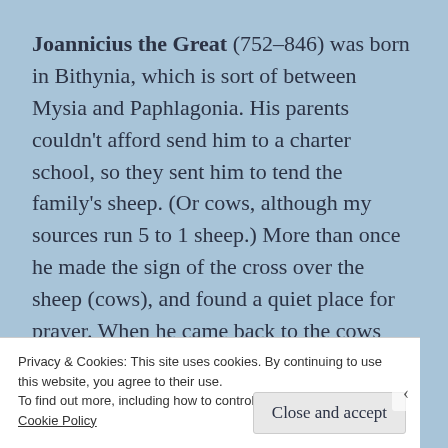Joannicius the Great (752–846) was born in Bithynia, which is sort of between Mysia and Paphlagonia. His parents couldn't afford send him to a charter school, so they sent him to tend the family's sheep. (Or cows, although my sources run 5 to 1 sheep.) More than once he made the sign of the cross over the sheep (cows), and found a quiet place for prayer. When he came back to the cows (sheep), they
Privacy & Cookies: This site uses cookies. By continuing to use this website, you agree to their use.
To find out more, including how to control cookies, see here:
Cookie Policy
Close and accept